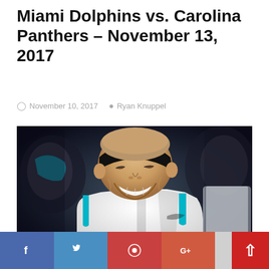Monday Night Football Betting: Miami Dolphins vs. Carolina Panthers – November 13, 2017
November 10, 2017   Ryan Knuppel
[Figure (photo): A smiling Carolina Panthers football player wearing a black headband and white/teal Carolina Panthers jersey, laughing, with other players visible in the blurred background.]
Social share buttons: Facebook, Twitter, Pinterest, Google+